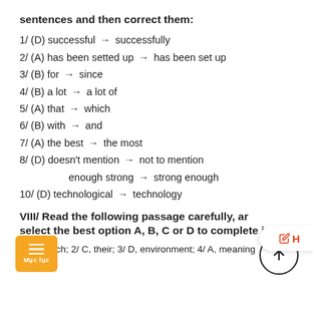sentences and then correct them:
1/ (D) successful → successfully
2/ (A) has been setted up → has been set up
3/ (B) for → since
4/ (B) a lot → a lot of
5/ (A) that → which
6/ (B) with → and
7/ (A) the best → the most
8/ (D) doesn't mention → not to mention
9/ (A) enough strong → strong enough
10/ (D) technological → technology
VIII/ Read the following passage carefully, and select the best option A, B, C or D to complete it:
1/ B, which; 2/ C, their; 3/ D, environment; 4/ A, meaning